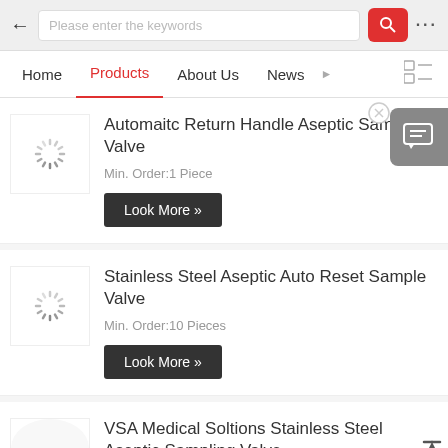[Figure (screenshot): Mobile app search bar with back arrow, text input placeholder 'Please enter the keywords', red search button with magnifier icon, and three-dots menu]
Home | Products | About Us | News
Automaitc Return Handle Aseptic Sampling Valve
Min. Order:1 Piece
Look More »
Stainless Steel Aseptic Auto Reset Sample Valve
Min. Order:10 Pieces
Look More »
VSA Medical Soltions Stainless Steel Aseptic Sampling Valve